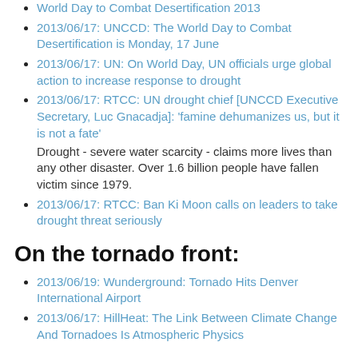World Day to Combat Desertification 2013
2013/06/17: UNCCD: The World Day to Combat Desertification is Monday, 17 June
2013/06/17: UN: On World Day, UN officials urge global action to increase response to drought
2013/06/17: RTCC: UN drought chief [UNCCD Executive Secretary, Luc Gnacadja]: 'famine dehumanizes us, but it is not a fate'
Drought - severe water scarcity - claims more lives than any other disaster. Over 1.6 billion people have fallen victim since 1979.
2013/06/17: RTCC: Ban Ki Moon calls on leaders to take drought threat seriously
On the tornado front:
2013/06/19: Wunderground: Tornado Hits Denver International Airport
2013/06/17: HillHeat: The Link Between Climate Change And Tornadoes Is Atmospheric Physics
As for heatwaves and wild fires: